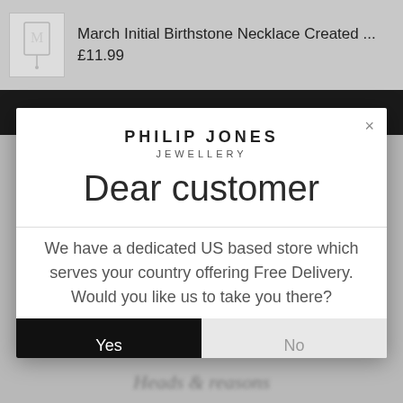March Initial Birthstone Necklace Created ...
£11.99
ADD TO CART
PHILIP JONES JEWELLERY
Dear customer
We have a dedicated US based store which serves your country offering Free Delivery. Would you like us to take you there?
Yes
No